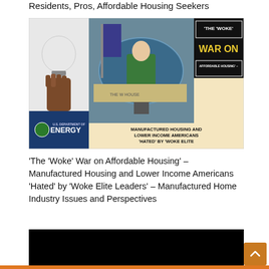Residents, Pros, Affordable Housing Seekers
[Figure (illustration): Composite image showing a hand holding a light bulb next to a US Department of Energy logo (left), a woman speaking at a White House podium (center), and a black box with text reading 'THE WOKE WAR ON AFFORDABLE HOUSING' (top right), with large bold text below reading 'MANUFACTURED HOUSING AND LOWER INCOME AMERICANS ‘HATED’ BY ‘WOKE ELITE LEADERS’ – MANUFACTURED HOME INDUSTRY ISSUES AND PERSPECTIVES']
‘The ‘Woke’ War on Affordable Housing’ – Manufactured Housing and Lower Income Americans ‘Hated’ by ‘Woke Elite Leaders’ – Manufactured Home Industry Issues and Perspectives
[Figure (photo): Black image area representing a video or photo placeholder, with an orange scroll-to-top button in the bottom right corner]